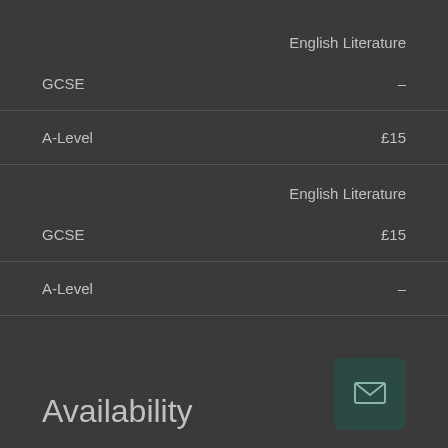English Literature
GCSE	–
A-Level	£15
English Literature
GCSE	£15
A-Level	–
Availability